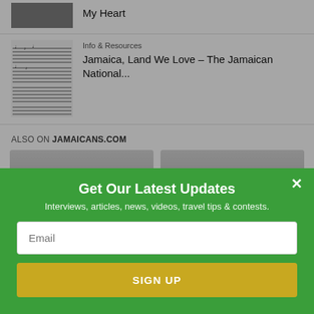[Figure (photo): Thumbnail photo strip at top]
My Heart
[Figure (photo): Music sheet notation thumbnail]
Info & Resources
Jamaica, Land We Love – The Jamaican National...
ALSO ON JAMAICANS.COM
[Figure (photo): Carousel card left – article thumbnail with overlay text: rs ago • 1 comment]
[Figure (photo): Carousel card right – article thumbnail with overlay text: 2 years ago • 2 comments]
Get Our Latest Updates
Interviews, articles, news, videos, travel tips & contests.
Email
SIGN UP